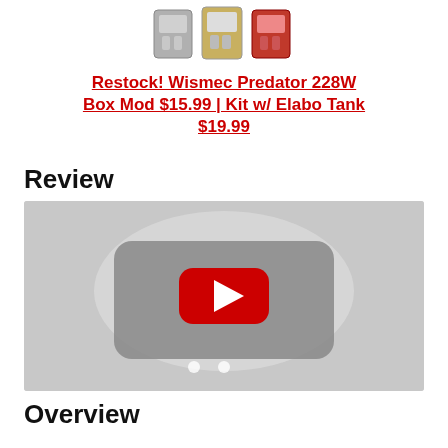[Figure (photo): Product image of Wismec Predator 228W Box Mod in multiple colors]
Restock! Wismec Predator 228W Box Mod $15.99 | Kit w/ Elabo Tank $19.99
Review
[Figure (screenshot): YouTube video thumbnail with red play button on gray background]
Overview